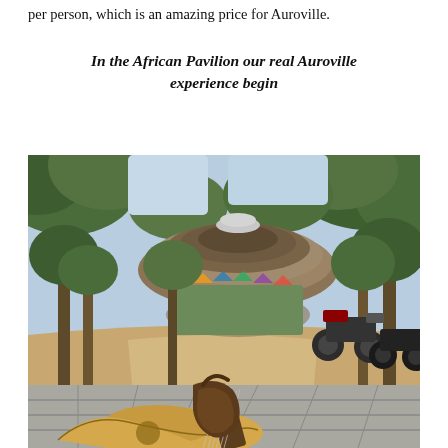per person, which is an amazing price for Auroville.
In the African Pavilion our real Auroville experience begin
[Figure (photo): Outdoor scene at the African Pavilion in Auroville. In the foreground, an acoustic guitar lies on a stone-tiled surface next to a leather bag. In the background, a round thatched-roof pavilion structure is visible among trees, with motorcycles parked nearby on a sandy dirt path. The sky is clear and bright between the tree canopies.]